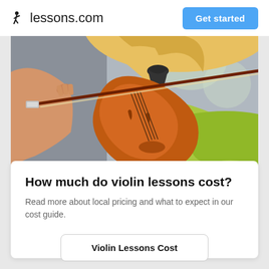lessons.com
Get started
[Figure (photo): Close-up photo of a young blonde woman playing violin with a bow, wearing a green top, blurred background.]
How much do violin lessons cost?
Read more about local pricing and what to expect in our cost guide.
Violin Lessons Cost